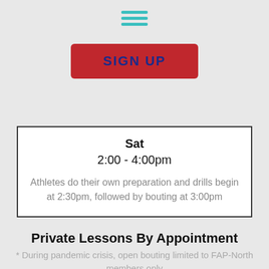[Figure (infographic): Hamburger menu icon made of three teal horizontal lines]
[Figure (infographic): Red button with dark blue bold text reading SIGN UP]
Sat
2:00 - 4:00pm
Athletes do their own preparation and drills begin at 2:30pm, followed by bouting at 3:00pm
Private Lessons By Appointment
* During pandemic crisis, open bouting limited to FAP-North members only
[Figure (infographic): Black banner card with OPEN BOUTING header and Mon-Thu label below on white background]